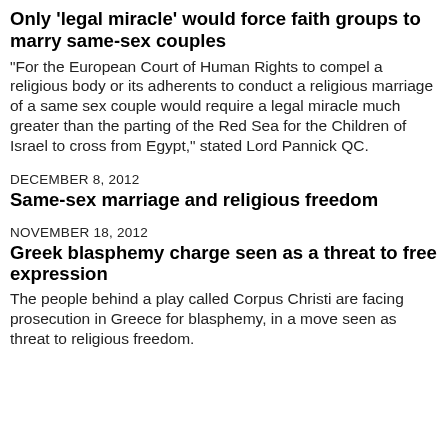Only ‘legal miracle’ would force faith groups to marry same-sex couples
“For the European Court of Human Rights to compel a religious body or its adherents to conduct a religious marriage of a same sex couple would require a legal miracle much greater than the parting of the Red Sea for the Children of Israel to cross from Egypt,” stated Lord Pannick QC.
DECEMBER 8, 2012
Same-sex marriage and religious freedom
NOVEMBER 18, 2012
Greek blasphemy charge seen as a threat to free expression
The people behind a play called Corpus Christi are facing prosecution in Greece for blasphemy, in a move seen as threat to religious freedom.